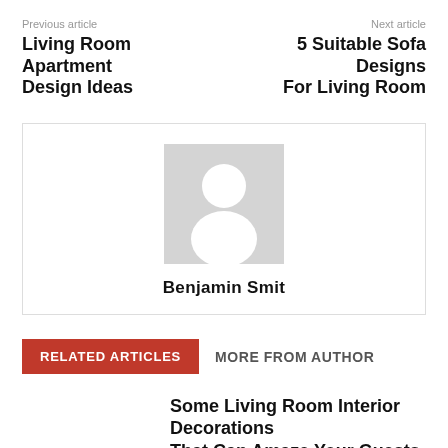Previous article
Living Room Apartment Design Ideas
Next article
5 Suitable Sofa Designs For Living Room
[Figure (illustration): Generic author avatar placeholder — grey square with white silhouette of a person]
Benjamin Smit
RELATED ARTICLES
MORE FROM AUTHOR
Some Living Room Interior Decorations That Can Amaze Your Guests